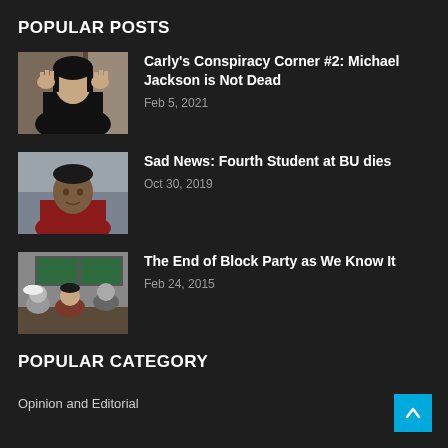POPULAR POSTS
[Figure (photo): Photo of Michael Jackson making hand gestures, wearing dark jacket]
Carly's Conspiracy Corner #2: Michael Jackson is Not Dead
Feb 5, 2021
[Figure (photo): Photo of a young man in a red sweater against a grey background]
Sad News: Fourth Student at BU dies
Oct 30, 2019
[Figure (photo): Photo of people in a classroom with green chalkboards]
The End of Block Party as We Know It
Feb 24, 2015
POPULAR CATEGORY
Opinion and Editorial